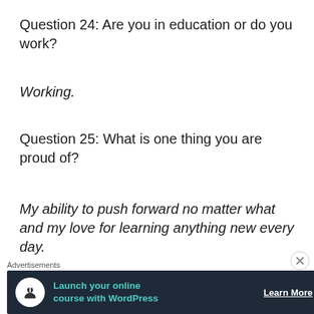Question 24: Are you in education or do you work?
Working.
Question 25: What is one thing you are proud of?
My ability to push forward no matter what and my love for learning anything new every day.
My nominees are:
[Figure (screenshot): Advertisement banner with dark navy background. Circle icon with person/upload symbol, teal text 'Launch your online course with WordPress', white 'Learn More' button with underline. 'Advertisements' label above.]